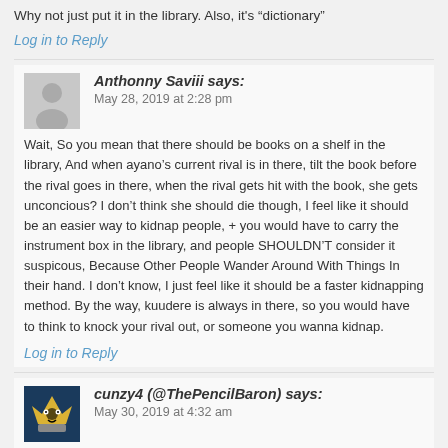Why not just put it in the library. Also, it’s “dictionary”
Log in to Reply
Anthonny Saviii says:
May 28, 2019 at 2:28 pm
Wait, So you mean that there should be books on a shelf in the library, And when ayano’s current rival is in there, tilt the book before the rival goes in there, when the rival gets hit with the book, she gets unconcious? I don’t think she should die though, I feel like it should be an easier way to kidnap people, + you would have to carry the instrument box in the library, and people SHOULDN’T consider it suspicous, Because Other People Wander Around With Things In their hand. I don’t know, I just feel like it should be a faster kidnapping method. By the way, kuudere is always in there, so you would have to think to knock your rival out, or someone you wanna kidnap.
Log in to Reply
cunzy4 (@ThePencilBaron) says:
May 30, 2019 at 4:32 am
You almost had me for a second, until I realized you were just trolling. XDDD